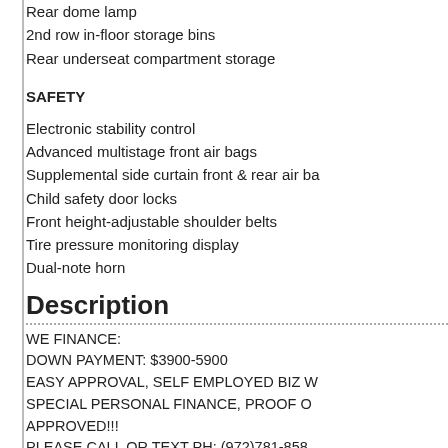Rear dome lamp
2nd row in-floor storage bins
Rear underseat compartment storage
SAFETY
Electronic stability control
Advanced multistage front air bags
Supplemental side curtain front & rear air ba
Child safety door locks
Front height-adjustable shoulder belts
Tire pressure monitoring display
Dual-note horn
Description
WE FINANCE:
DOWN PAYMENT: $3900-5900
EASY APPROVAL, SELF EMPLOYED BIZ W
SPECIAL PERSONAL FINANCE, PROOF O
APPROVED!!!
PLEASE CALL OR TEXT PH: (972)781-858
HABLO ESPANOL: 469-677-4497 MIGUEL
WE ARE LOCATED AT
212 EAST DIVISION STREET ARLINGTON
WWW.DFWCARSANDTRUCKS.NET
UP FOR SALE:
CASH SPECIAL: $25995 PLUS TAX
UP FOR SALE:
2013 DODGE RAM 2500 SLT TRADESMAN
TRANSMISSION CREW CAB LONG BED L
CLEAN
DRIVES GREAT, WORKS GREAT, NO ISS